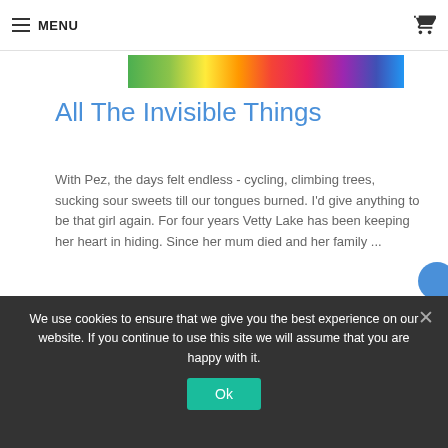MENU
[Figure (illustration): Rainbow-colored gradient banner strip]
All The Invisible Things
With Pez, the days felt endless - cycling, climbing trees, sucking sour sweets till our tongues burned. I'd give anything to be that girl again. For four years Vetty Lake has been keeping her heart in hiding. Since her mum died and her family ...
ATOS Book Level : 5.3
Points Value : 14.0
This title is not suitable for primary age children due to inappropriate content
We use cookies to ensure that we give you the best experience on our website. If you continue to use this site we will assume that you are happy with it.